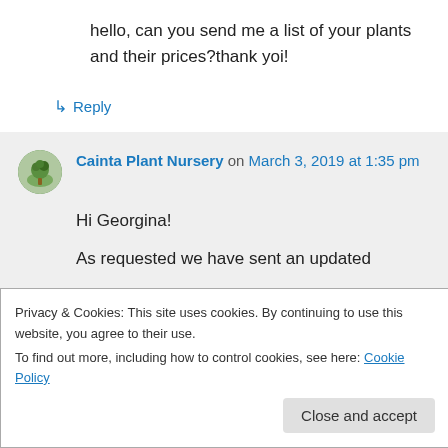hello, can you send me a list of your plants and their prices?thank yoi!
↳ Reply
Cainta Plant Nursery on March 3, 2019 at 1:35 pm
Hi Georgina!
As requested we have sent an updated
Privacy & Cookies: This site uses cookies. By continuing to use this website, you agree to their use.
To find out more, including how to control cookies, see here: Cookie Policy
Close and accept